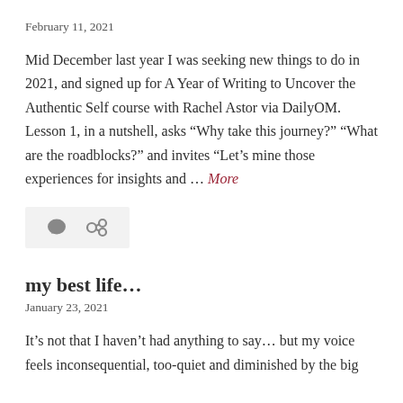February 11, 2021
Mid December last year I was seeking new things to do in 2021, and signed up for A Year of Writing to Uncover the Authentic Self course with Rachel Astor via DailyOM. Lesson 1, in a nutshell, asks “Why take this journey?” “What are the roadblocks?” and invites “Let’s mine those experiences for insights and … More
[Figure (other): Comment and share icons on a light grey background]
my best life…
January 23, 2021
It’s not that I haven’t had anything to say… but my voice feels inconsequential, too-quiet and diminished by the big